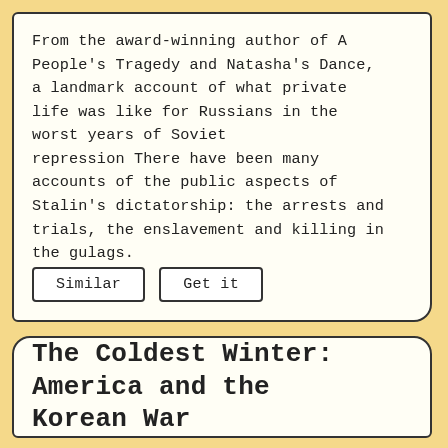From the award-winning author of A People's Tragedy and Natasha's Dance, a landmark account of what private life was like for Russians in the worst years of Soviet repression There have been many accounts of the public aspects of Stalin's dictatorship: the arrests and trials, the enslavement and killing in the gulags.
Similar
Get it
The Coldest Winter: America and the Korean War